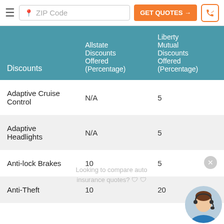ZIP Code | GET QUOTES → | Phone
| Discounts | Allstate Discounts Offered (Percentage) | Liberty Mutual Discounts Offered (Percentage) |
| --- | --- | --- |
| Adaptive Cruise Control | N/A | 5 |
| Adaptive Headlights | N/A | 5 |
| Anti-lock Brakes | 10 | 5 |
| Anti-Theft | 10 | 20 |
Looking to compare auto insurance quotes? 🛡 🛡